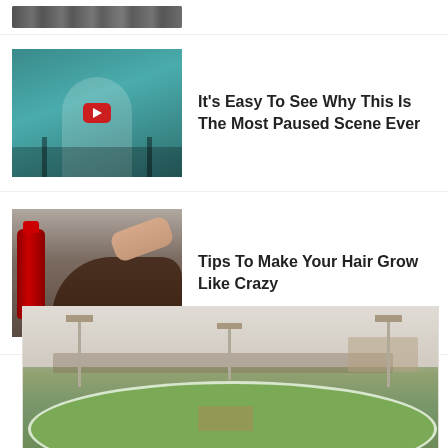[Figure (photo): Partial top-cropped thumbnail image strip, dark/grey tones]
[Figure (photo): Woman in white outfit seated, teal background, with YouTube play button overlay]
It's Easy To See Why This Is The Most Paused Scene Ever
[Figure (photo): Person pouring Coca-Cola bottle on dark hair, head bent down]
Tips To Make Your Hair Grow Like Crazy
[Figure (photo): Cricket stadium with green outfield, floodlights, and stands in the background]